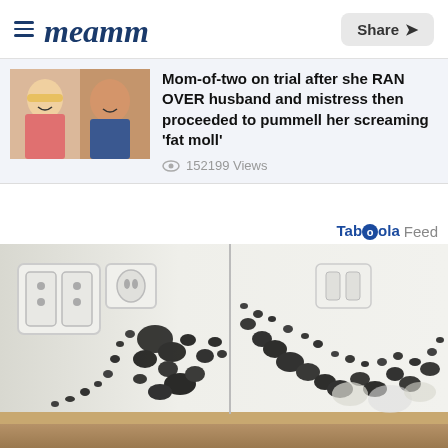meamm — Share
[Figure (photo): Thumbnail photo of a couple (blonde woman and man smiling) next to article headline]
Mom-of-two on trial after she RAN OVER husband and mistress then proceeded to pummell her screaming 'fat moll'
152199 Views
Taboola Feed
[Figure (photo): Photo of a white wall corner covered with extensive black mold growth, with electrical outlet panels visible on the left side of the wall]